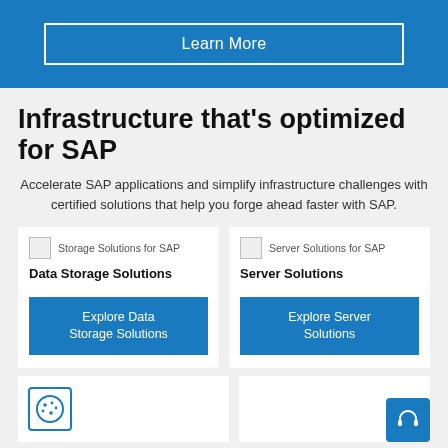Learn More
Infrastructure that's optimized for SAP
Accelerate SAP applications and simplify infrastructure challenges with certified solutions that help you forge ahead faster with SAP.
[Figure (screenshot): Data Storage Solutions card with broken image icon labeled 'Storage Solutions for SAP', bold title 'Data Storage Solutions', and blue button 'Explore Data Storage Solutions']
[Figure (screenshot): Server Solutions card with broken image icon labeled 'Server Solutions for SAP', bold title 'Server Solutions', and blue button 'Explore Server Solutions']
[Figure (logo): Blue cookie/animal icon in blue border box at bottom left]
[Figure (other): Blue headset/support button at bottom right corner]